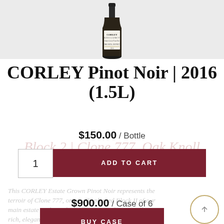[Figure (photo): Wine bottle (Corley Pinot Noir) shown partially, upper portion visible against gray background]
CORLEY Pinot Noir | 2016 (1.5L)
$150.00 / Bottle
Block 2 | Clone 777, Oak Knoll LIBRARY (9L lots)
1
ADD TO CART
This CORLEY Estate Grown Pinot Noir represents the terroir of Clone 777, originally planted Block II of our main estate in the Oak Knoll District of Napa Valley—rich, elegant, and nuanced.
$900.00 / Case of 6
BUY CASE